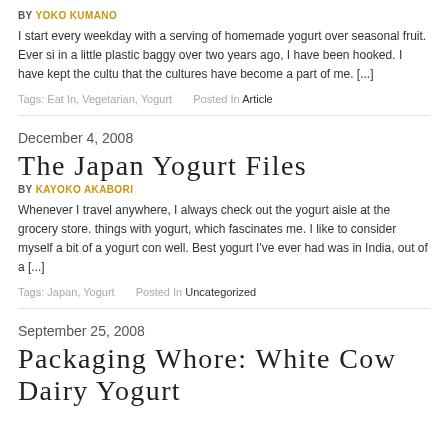BY YOKO KUMANO
I start every weekday with a serving of homemade yogurt over seasonal fruit. Ever since I received the culture in a little plastic baggy over two years ago, I have been hooked. I have kept the culture alive so long that the cultures have become a part of me. [...]
Tags: Eat In, Vegetarian, Yogurt   Posted In Article
December 4, 2008
The Japan Yogurt Files
BY KAYOKO AKABORI
Whenever I travel anywhere, I always check out the yogurt aisle at the grocery store. Japan does incredible things with yogurt, which fascinates me. I like to consider myself a bit of a yogurt connoisseur, if you will. Best yogurt I've ever had was in India, out of a [...]
Tags: Japan, Yogurt   Posted In Uncategorized
September 25, 2008
Packaging Whore: White Cow Dairy Yogurt